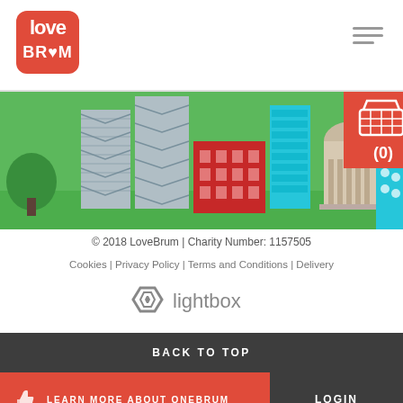[Figure (logo): LoveBrum red logo with heart in letter O]
[Figure (illustration): Birmingham city skyline illustration with buildings, church dome, and shopping basket icon showing (0)]
© 2018 LoveBrum | Charity Number: 1157505
Cookies | Privacy Policy | Terms and Conditions | Delivery
[Figure (logo): Lightbox logo with hexagonal icon and 'lightbox' text]
BACK TO TOP
LEARN MORE ABOUT ONEBRUM
LOGIN